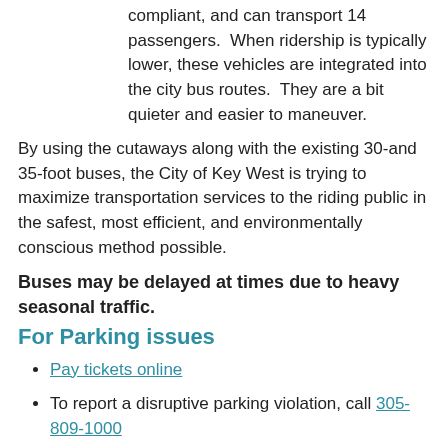compliant, and can transport 14 passengers. When ridership is typically lower, these vehicles are integrated into the city bus routes. They are a bit quieter and easier to maneuver.
By using the cutaways along with the existing 30-and 35-foot buses, the City of Key West is trying to maximize transportation services to the riding public in the safest, most efficient, and environmentally conscious method possible.
Buses may be delayed at times due to heavy seasonal traffic.
For Parking issues
Pay tickets online
To report a disruptive parking violation, call 305-809-1000
If you have questions, call 305-809-3855 or the hotline at 305-809-1101